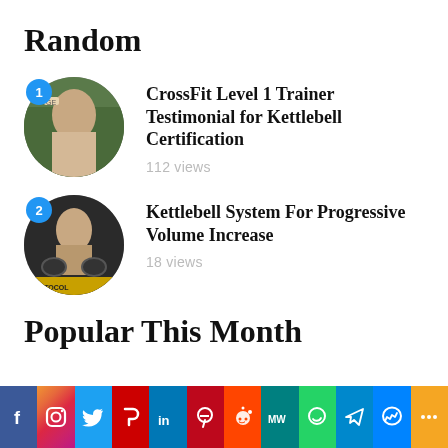Random
CrossFit Level 1 Trainer Testimonial for Kettlebell Certification
112 views
Kettlebell System For Progressive Volume Increase
18 views
Popular This Month
[Figure (infographic): Social media sharing bar with icons for Facebook, Instagram, Twitter, Parler, LinkedIn, Pinterest, Reddit, MeWe, WhatsApp, Telegram, Messenger, and More]